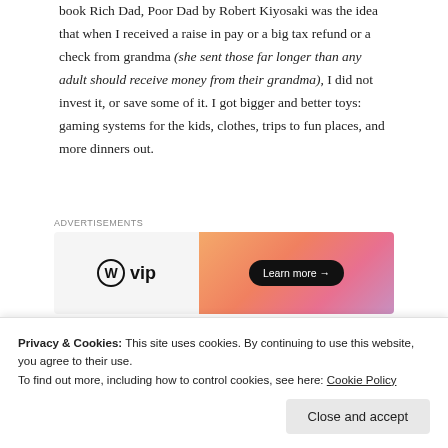book Rich Dad, Poor Dad by Robert Kiyosaki was the idea that when I received a raise in pay or a big tax refund or a check from grandma (she sent those far longer than any adult should receive money from their grandma), I did not invest it, or save some of it. I got bigger and better toys: gaming systems for the kids, clothes, trips to fun places, and more dinners out.
[Figure (other): WordPress VIP advertisement banner with gradient orange-pink background and 'Learn more →' button]
True story: my grandmother chose to give me some
Privacy & Cookies: This site uses cookies. By continuing to use this website, you agree to their use.
To find out more, including how to control cookies, see here: Cookie Policy